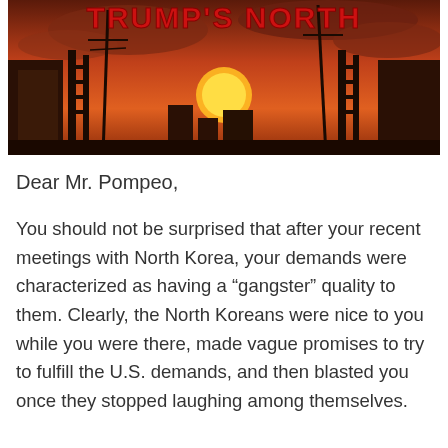[Figure (illustration): A post-apocalyptic scene with destroyed buildings, utility poles, orange-red sky and a setting sun. Red stylized text at the top reads partially visible title text.]
Dear Mr. Pompeo,
You should not be surprised that after your recent meetings with North Korea, your demands were characterized as having a “gangster” quality to them. Clearly, the North Koreans were nice to you while you were there, made vague promises to try to fulfill the U.S. demands, and then blasted you once they stopped laughing among themselves.